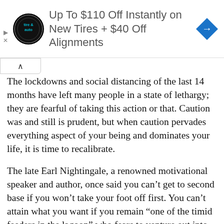[Figure (screenshot): Advertisement banner for tire and auto service: circular logo with 'tire & auto' text, ad text reading 'Up To $110 Off Instantly on New Tires + $40 Off Alignments', blue diamond arrow icon on right, play and close controls on left]
The lockdowns and social distancing of the last 14 months have left many people in a state of lethargy; they are fearful of taking this action or that. Caution was and still is prudent, but when caution pervades everything aspect of your being and dominates your life, it is time to recalibrate.
The late Earl Nightingale, a renowned motivational speaker and author, once said you can't get to second base if you won't take your foot off first. You can't attain what you want if you remain “one of the timid feeders in the lagoon” who fears to venture out into the deep blue sea.